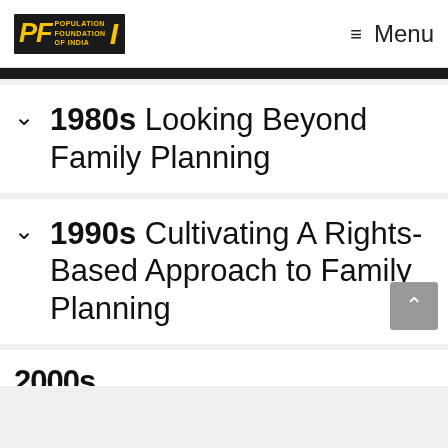Population Foundation of India — Menu
1980s Looking Beyond Family Planning
1990s Cultivating A Rights-Based Approach to Family Planning
2000s...